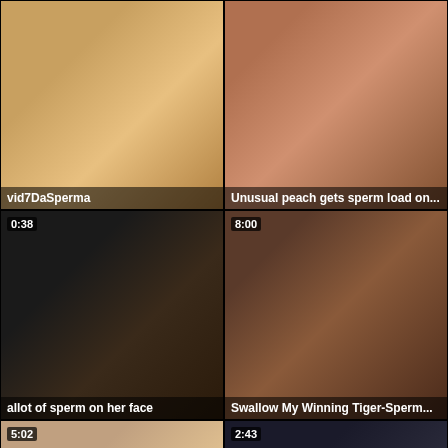[Figure (photo): Video thumbnail 1 - vid7DaSperma]
[Figure (photo): Video thumbnail 2 - Unusual peach gets sperm load on...]
[Figure (photo): Video thumbnail 3 - allot of sperm on her face, duration 0:38]
[Figure (photo): Video thumbnail 4 - Swallow My Winning Tiger-Sperm..., duration 8:00]
[Figure (photo): Video thumbnail 5 - Wicked looker gets sperm shot on..., duration 5:02]
[Figure (photo): Video thumbnail 6 - nylon heels kondom und sperma..., duration 2:43]
[Figure (photo): Video thumbnail 7 - partial, duration 6:15]
[Figure (photo): Video thumbnail 8 - partial, duration 4:58]